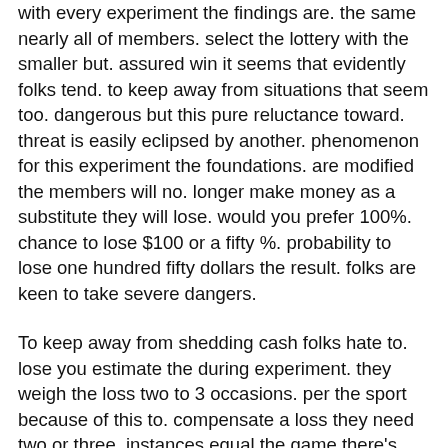with every experiment the findings are. the same nearly all of members. select the lottery with the smaller but. assured win it seems that evidently folks tend. to keep away from situations that seem too. dangerous but this pure reluctance toward. threat is easily eclipsed by another. phenomenon for this experiment the foundations. are modified the members will no. longer make money as a substitute they will lose. would you prefer 100%. chance to lose $100 or a fifty %. probability to lose one hundred fifty dollars the result. folks are keen to take severe dangers.
To keep away from shedding cash folks hate to. lose you estimate the during experiment. they weigh the loss two to 3 occasions. per the sport because of this to. compensate a loss they need two or three. instances equal the game there's. excessive aversion to loss. this profound worry of loss has an. sudden consequence in basic. financial theory in a situation of. monetary loss anybody may become a threat taker